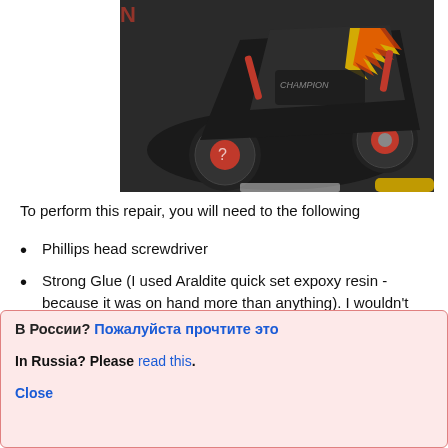[Figure (photo): Top-down photo of an RC car (black and red with flame graphics) with red shock absorbers and red-hubbed tires on a dark surface, with a gold/yellow handle visible at bottom right.]
To perform this repair, you will need to the following
Phillips head screwdriver
Strong Glue (I used Araldite quick set expoxy resin - because it was on hand more than anything). I wouldn't recommend superglue, it needs to be thi...
В России? Пожалуйста прочтите это
In Russia? Please read this.
Close